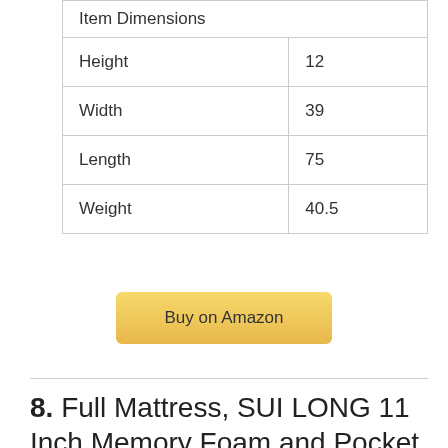| Item Dimensions |  |
| --- | --- |
| Height | 12 |
| Width | 39 |
| Length | 75 |
| Weight | 40.5 |
Buy on Amazon
8. Full Mattress, SUI LONG 11 Inch Memory Foam and Pocket Innerspring Hybrid Mattress in a